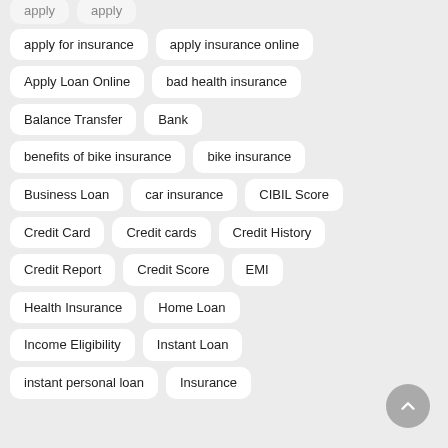apply for insurance
apply insurance online
Apply Loan Online
bad health insurance
Balance Transfer
Bank
benefits of bike insurance
bike insurance
Business Loan
car insurance
CIBIL Score
Credit Card
Credit cards
Credit History
Credit Report
Credit Score
EMI
Health Insurance
Home Loan
Income Eligibility
Instant Loan
instant personal loan
Insurance